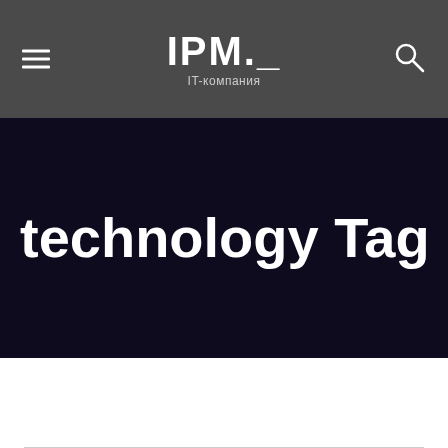IPM. IT-компания
technology Tag